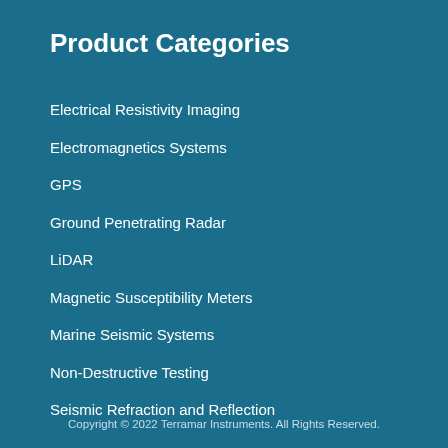Product Categories
Electrical Resistivity Imaging
Electromagnetics Systems
GPS
Ground Penetrating Radar
LiDAR
Magnetic Susceptibility Meters
Marine Seismic Systems
Non-Destructive Testing
Seismic Refraction and Reflection
Copyright © 2022 Terramar Instruments. All Rights Reserved.